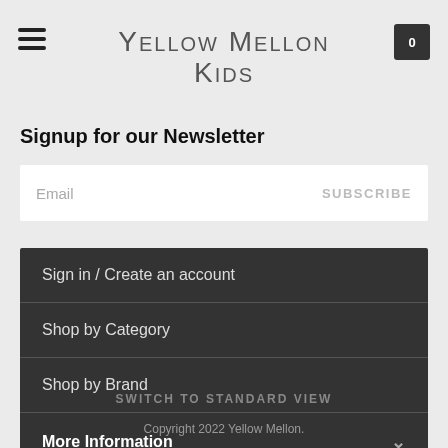Yellow Mellon Kids
Signup for our Newsletter
Email  SUBSCRIBE
Sign in / Create an account
Shop by Category
Shop by Brand
More Information
SWITCH TO STANDARD VIEW
Copyright 2022 Yellow Mellon.